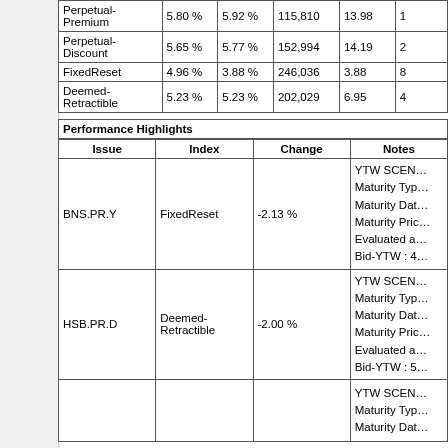|  |  |  |  |  |  |
| --- | --- | --- | --- | --- | --- |
| Perpetual-Premium | 5.80 % | 5.92 % | 115,810 | 13.98 | 1… |
| Perpetual-Discount | 5.65 % | 5.77 % | 152,994 | 14.19 | 2… |
| FixedReset | 4.96 % | 3.88 % | 246,036 | 3.88 | 8… |
| Deemed-Retractible | 5.23 % | 5.23 % | 202,029 | 6.95 | 4… |
Performance Highlights
| Issue | Index | Change | Notes |
| --- | --- | --- | --- |
| BNS.PR.Y | FixedReset | -2.13 % | YTW SCEN…
Maturity Typ…
Maturity Dat…
Maturity Pric…
Evaluated a…
Bid-YTW : 4… |
| HSB.PR.D | Deemed-Retractible | -2.00 % | YTW SCEN…
Maturity Typ…
Maturity Dat…
Maturity Pric…
Evaluated a…
Bid-YTW : 5… |
| … | Perpetual-Di… | -…% | YTW SCEN…
Maturity Typ…
Maturity Dat… |